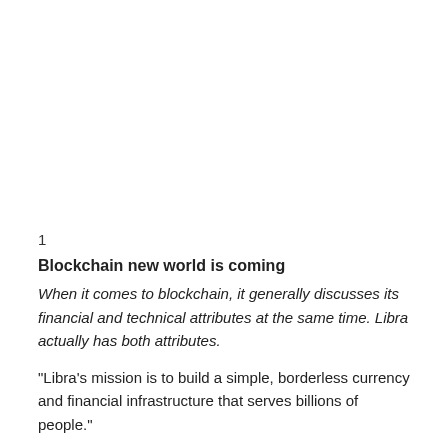1
Blockchain new world is coming
When it comes to blockchain, it generally discusses its financial and technical attributes at the same time. Libra actually has both attributes.
“Libra's mission is to build a simple, borderless currency and financial infrastructure that serves billions of people.”
This sentence appeared three times in total in the white